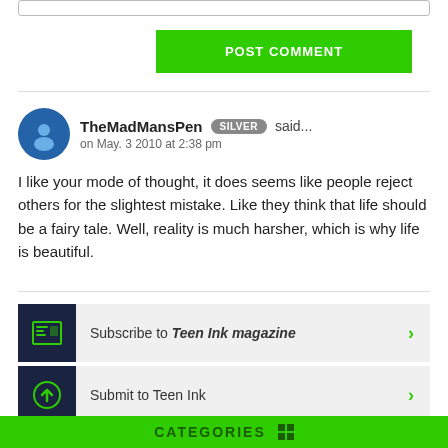[textarea stub]
POST COMMENT
TheMadMansPen SILVER said... on May. 3 2010 at 2:38 pm
I like your mode of thought, it does seems like people reject others for the slightest mistake. Like they think that life should be a fairy tale. Well, reality is much harsher, which is why life is beautiful.
Subscribe to Teen Ink magazine
Submit to Teen Ink
CATEGORIES